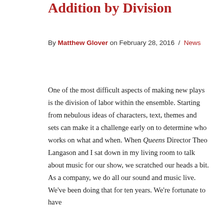Addition by Division
By Matthew Glover on February 28, 2016 / News
One of the most difficult aspects of making new plays is the division of labor within the ensemble. Starting from nebulous ideas of characters, text, themes and sets can make it a challenge early on to determine who works on what and when. When Queens Director Theo Langason and I sat down in my living room to talk about music for our show, we scratched our heads a bit. As a company, we do all our sound and music live. We've been doing that for ten years. We're fortunate to have